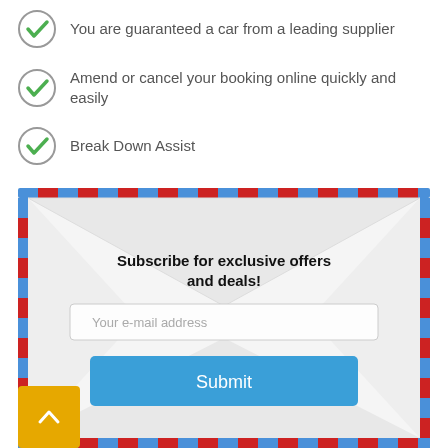You are guaranteed a car from a leading supplier
Amend or cancel your booking online quickly and easily
Break Down Assist
[Figure (infographic): Airmail envelope subscription widget with title 'Subscribe for exclusive offers and deals!', an email input field placeholder 'Your e-mail address', and a blue Submit button. A yellow scroll-up button with a caret is visible in the lower left.]